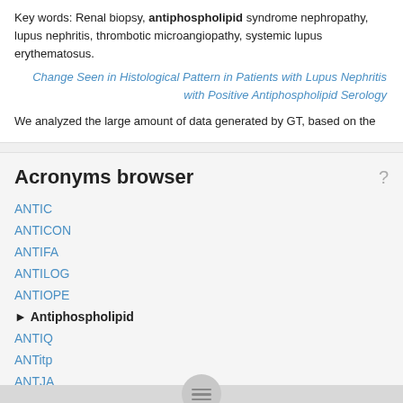Key words: Renal biopsy, antiphospholipid syndrome nephropathy, lupus nephritis, thrombotic microangiopathy, systemic lupus erythematosus.
Change Seen in Histological Pattern in Patients with Lupus Nephritis with Positive Antiphospholipid Serology
We analyzed the large amount of data generated by GT, based on the
Acronyms browser
ANTIC
ANTICON
ANTIFA
ANTILOG
ANTIOPE
▶ Antiphospholipid
ANTIQ
ANTitp
ANTJA
ANTL